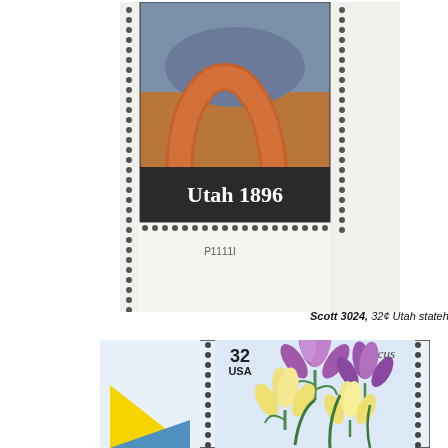[Figure (photo): US postage stamp Scott 3024, 32-cent Utah statehood stamp showing Delicate Arch rock formation with desert landscape, labeled 'Utah 1896', with perforated edges, plate number P11111 visible in margin below stamp]
Scott 3024, 32¢ Utah statehood,
[Figure (photo): US postage stamp showing 32 USA Crocus flowers — purple and white/cream crocus blooms with green stems, labeled 'Crocus' in script, with perforated edges and a geometric yellow and blue triangle design visible in margin to the left]